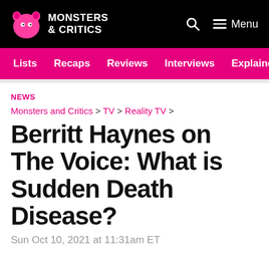Monsters & Critics — Menu
Lists | Recaps | Reviews | Interviews | Explainers
NEWS
Monsters and Critics > TV > Reality TV >
Berritt Haynes on The Voice: What is Sudden Death Disease?
Sun Oct 10, 2021 at 11:31am ET